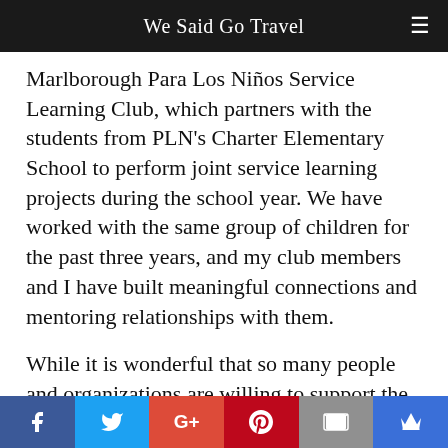We Said Go Travel
Marlborough Para Los Niños Service Learning Club, which partners with the students from PLN's Charter Elementary School to perform joint service learning projects during the school year. We have worked with the same group of children for the past three years, and my club members and I have built meaningful connections and mentoring relationships with them.
While it is wonderful that so many people and organizations are willing to support the
Social share bar: Facebook, Twitter, Google+, Pinterest, Email, Crown